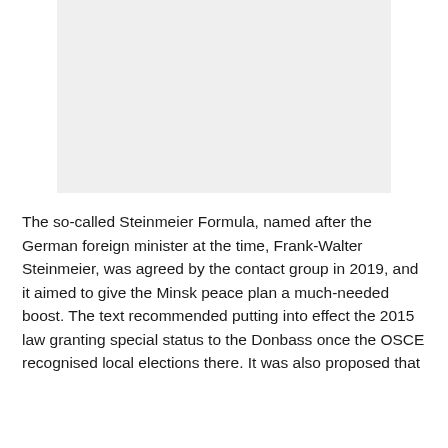[Figure (other): A light grey rectangular image placeholder area]
The so-called Steinmeier Formula, named after the German foreign minister at the time, Frank-Walter Steinmeier, was agreed by the contact group in 2019, and it aimed to give the Minsk peace plan a much-needed boost. The text recommended putting into effect the 2015 law granting special status to the Donbass once the OSCE recognised local elections there. It was also proposed that